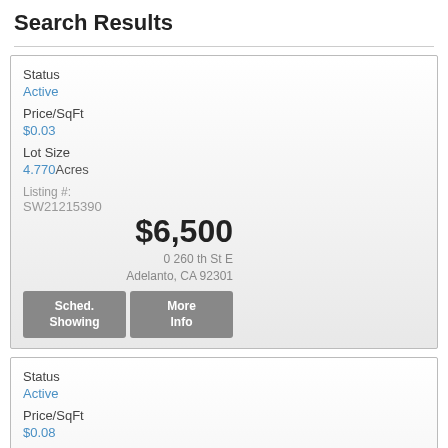Search Results
| Field | Value |
| --- | --- |
| Status | Active |
| Price | $6,500 |
| Address | 0 260 th St E, Adelanto, CA 92301 |
| Price/SqFt | $0.03 |
| Lot Size | 4.770 Acres |
| Listing # | SW21215390 |
| Field | Value |
| --- | --- |
| Status | Active |
| Price | $7,500 |
| Address | 0 Tamarisk, Adelanto, CA 92301 |
| Price/SqFt | $0.08 |
| Lot Size | 2.280 Acres |
| Listing # | SW2115928 |
| Field | Value |
| --- | --- |
| Status | Active |
| Price | $9,900 |